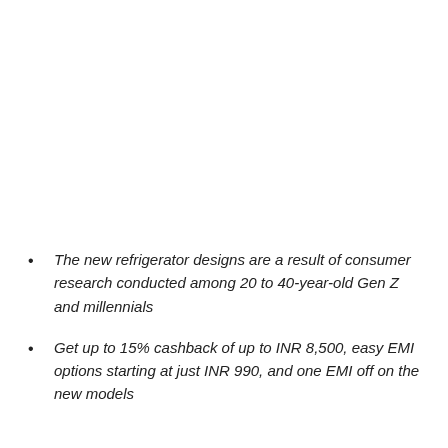The new refrigerator designs are a result of consumer research conducted among 20 to 40-year-old Gen Z and millennials
Get up to 15% cashback of up to INR 8,500, easy EMI options starting at just INR 990, and one EMI off on the new models